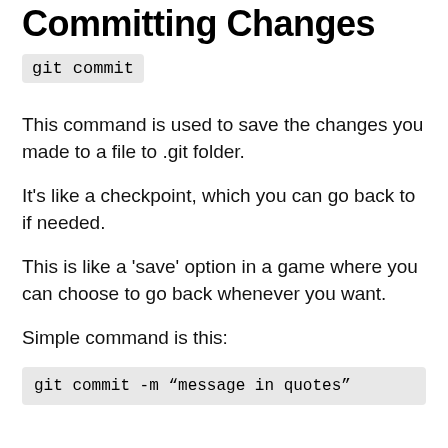Committing Changes
git commit
This command is used to save the changes you made to a file to .git folder.
It's like a checkpoint, which you can go back to if needed.
This is like a 'save' option in a game where you can choose to go back whenever you want.
Simple command is this:
git commit -m "message in quotes"